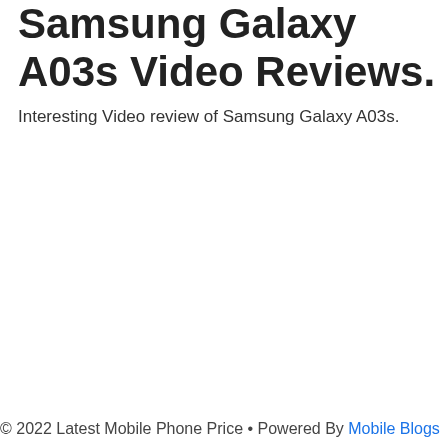Samsung Galaxy A03s Video Reviews.
Interesting Video review of Samsung Galaxy A03s.
© 2022 Latest Mobile Phone Price • Powered By Mobile Blogs